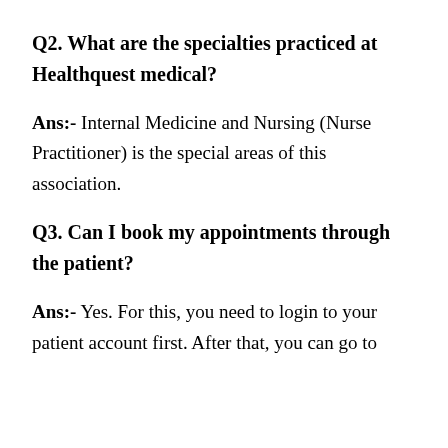Q2. What are the specialties practiced at Healthquest medical?
Ans:- Internal Medicine and Nursing (Nurse Practitioner) is the special areas of this association.
Q3. Can I book my appointments through the patient?
Ans:- Yes. For this, you need to login to your patient account first. After that, you can go to